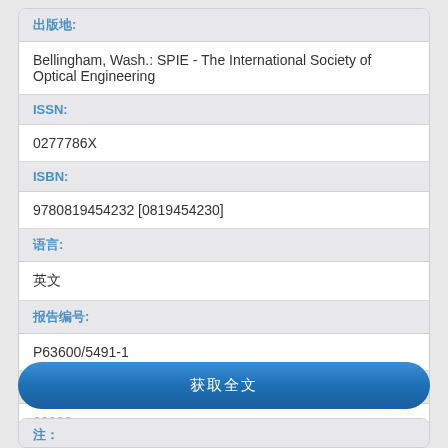出版地:
Bellingham, Wash.: SPIE - The International Society of Optical Engineering
ISSN:
0277786X
ISBN:
9780819454232 [0819454230]
语言:
英文
报告编号:
P63600/5491-1
馆藏号:
00000
获取全文
注：